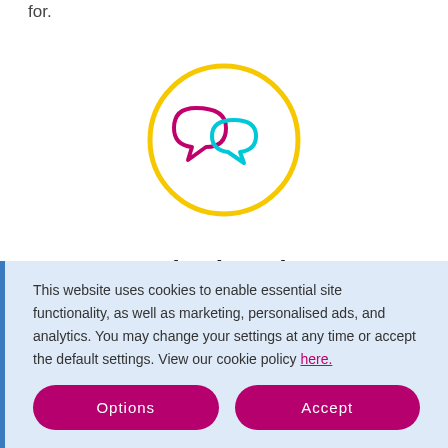for.
[Figure (illustration): Two overlapping speech bubble icons (magenta and cyan) inside a yellow circle outline]
Get your voice heard
You can be certain that you're talking to the right person at the right time. We automatically connect you to contacts at
This website uses cookies to enable essential site functionality, as well as marketing, personalised ads, and analytics. You may change your settings at any time or accept the default settings. View our cookie policy here.